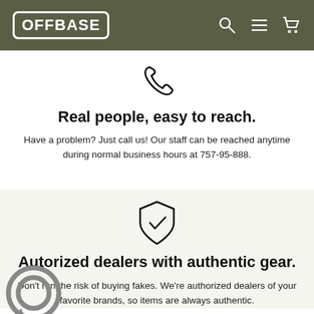OFFBASE
[Figure (illustration): Phone/call icon (handset outline)]
Real people, easy to reach.
Have a problem? Just call us! Our staff can be reached anytime during normal business hours at 757-95-888.
[Figure (illustration): Shield with checkmark icon]
Autorized dealers with authentic gear.
Don't run the risk of buying fakes. We're authorized dealers of your favorite brands, so items are always authentic.
[Figure (illustration): Chat bubble / messenger icon (bottom left overlay)]